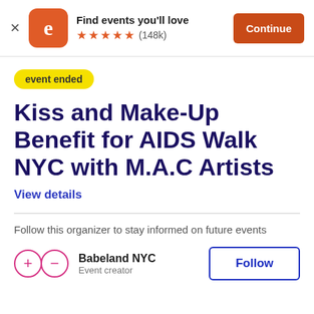[Figure (screenshot): Eventbrite app banner with orange logo, 'Find events you'll love', 5 orange stars, (148k) reviews, and an orange Continue button]
event ended
Kiss and Make-Up Benefit for AIDS Walk NYC with M.A.C Artists
View details
Follow this organizer to stay informed on future events
Babeland NYC
Event creator
Follow